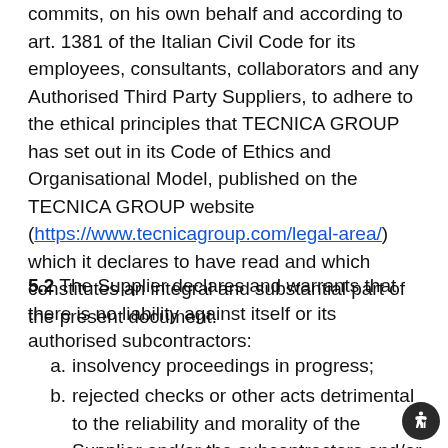commits, on his own behalf and according to art. 1381 of the Italian Civil Code for its employees, consultants, collaborators and any Authorised Third Party Suppliers, to adhere to the ethical principles that TECNICA GROUP has set out in its Code of Ethics and Organisational Model, published on the TECNICA GROUP website (https://www.tecnicagroup.com/legal-area/) which it declares to have read and which constitutes an integral and substantial part of the present document.
5.2 The Supplier declares and warrants that there is no liability against itself or its authorised subcontractors:
a. insolvency proceedings in progress;
b. rejected checks or other acts detrimental to the reliability and morality of the Supplier and/or the subcontractors and/or their